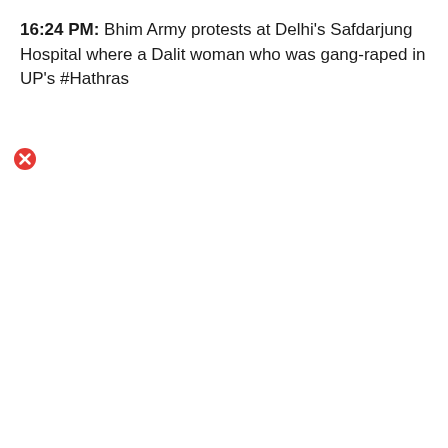16:24 PM: Bhim Army protests at Delhi's Safdarjung Hospital where a Dalit woman who was gang-raped in UP's #Hathras
[Figure (illustration): Red circle with white X icon (error/close button icon)]